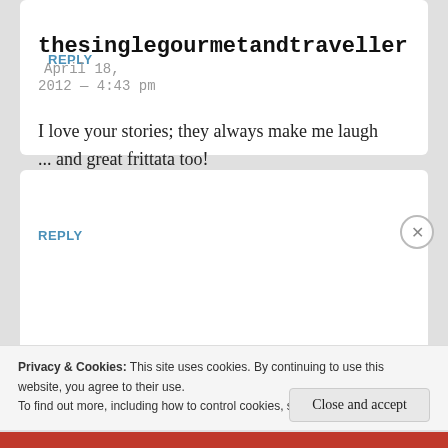REPLY
thesinglegourmetandtraveller  April 18, 2012 — 4:43 pm
I love your stories; they always make me laugh ... and great frittata too!
REPLY
Privacy & Cookies: This site uses cookies. By continuing to use this website, you agree to their use.
To find out more, including how to control cookies, see here: Cookie Policy
Close and accept